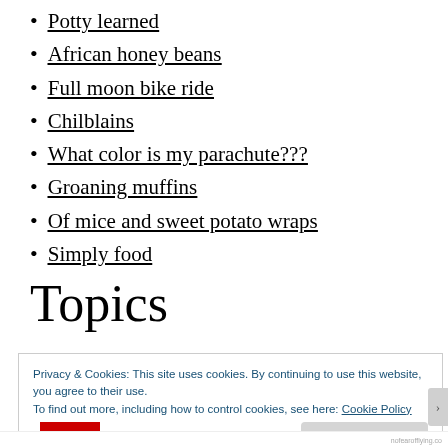Potty learned
African honey beans
Full moon bike ride
Chilblains
What color is my parachute???
Groaning muffins
Of mice and sweet potato wraps
Simply food
Topics
Privacy & Cookies: This site uses cookies. By continuing to use this website, you agree to their use.
To find out more, including how to control cookies, see here: Cookie Policy
Close and accept